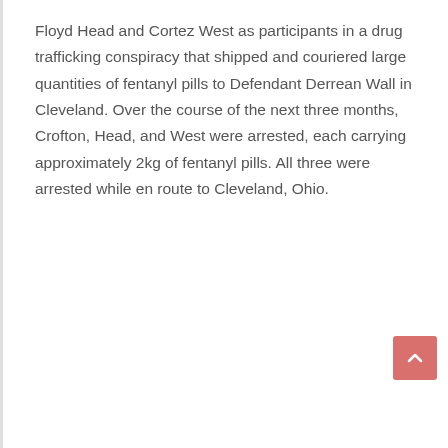Floyd Head and Cortez West as participants in a drug trafficking conspiracy that shipped and couriered large quantities of fentanyl pills to Defendant Derrean Wall in Cleveland. Over the course of the next three months, Crofton, Head, and West were arrested, each carrying approximately 2kg of fentanyl pills. All three were arrested while en route to Cleveland, Ohio.